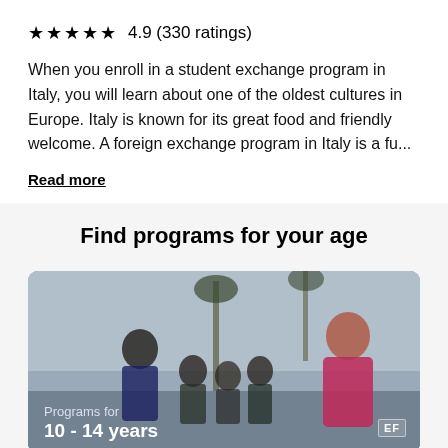★★★★★  4.9  (330 ratings)
When you enroll in a student exchange program in Italy, you will learn about one of the oldest cultures in Europe. Italy is known for its great food and friendly welcome. A foreign exchange program in Italy is a fu...
Read more
Find programs for your age
[Figure (photo): Group of young students and a teacher/counselor outdoors with palm trees in the background. Text overlay reads 'Programs for 10 - 14 years'. EF logo badge visible bottom right.]